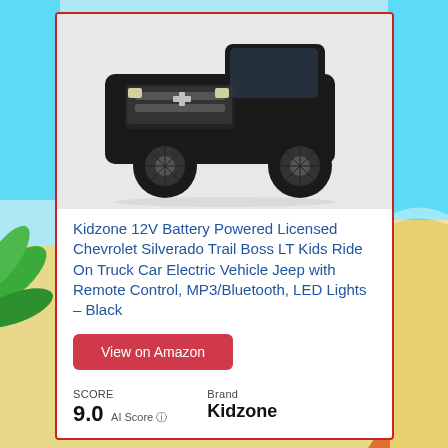[Figure (photo): Black Chevrolet Silverado Trail Boss LT kids ride-on truck toy, front/side view on white background]
Kidzone 12V Battery Powered Licensed Chevrolet Silverado Trail Boss LT Kids Ride On Truck Car Electric Vehicle Jeep with Remote Control, MP3/Bluetooth, LED Lights – Black
View on Amazon
SCORE
9.0  AI Score
Brand
Kidzone